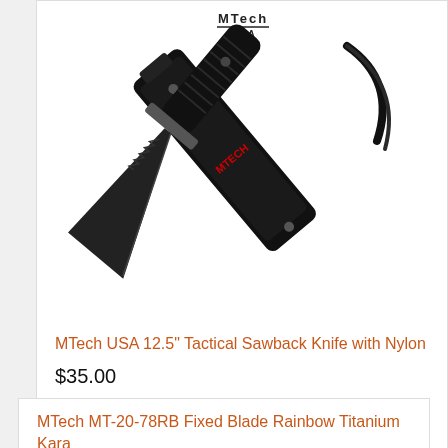[Figure (photo): MTech USA knife product photo showing a black tactical sawback fixed blade knife crossed over its black nylon sheath, with MTech USA logo visible at top]
MTech USA 12.5" Tactical Sawback Knife with Nylon
$35.00
Out Of Stock
MTech MT-20-78RB Fixed Blade Rainbow Titanium Kara